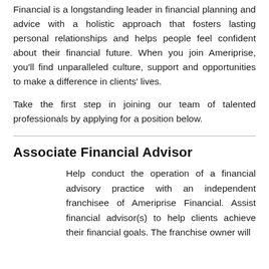Financial is a longstanding leader in financial planning and advice with a holistic approach that fosters lasting personal relationships and helps people feel confident about their financial future. When you join Ameriprise, you'll find unparalleled culture, support and opportunities to make a difference in clients' lives.

Take the first step in joining our team of talented professionals by applying for a position below.
Associate Financial Advisor
Help conduct the operation of a financial advisory practice with an independent franchisee of Ameriprise Financial. Assist financial advisor(s) to help clients achieve their financial goals. The franchise owner will